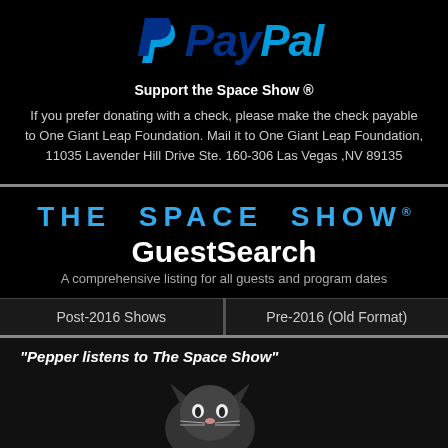[Figure (logo): PayPal logo with blue P icon and PayPal wordmark in blue italic text]
Support the Space Show ®
If you prefer donating with a check, please make the check payable to One Giant Leap Foundation. Mail it to One Giant Leap Foundation, 11035 Lavender Hill Drive Ste. 160-306 Las Vegas ,NV 89135
[Figure (logo): The Space Show GuestSearch logo with blue uppercase text and white GuestSearch subtitle]
A comprehensive listing for all guests and program dates
Post-2016 Shows
Pre-2016 (Old Format)
[Figure (photo): Photo of a cat (Pepper) with caption: Pepper listens to The Space Show]